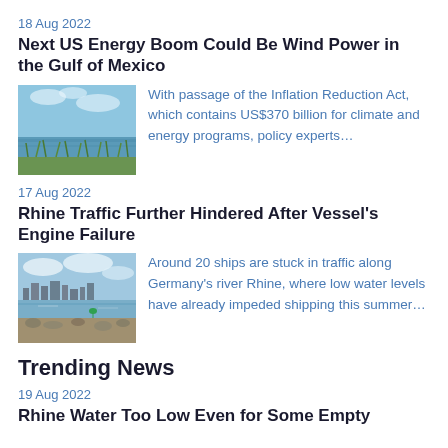18 Aug 2022
Next US Energy Boom Could Be Wind Power in the Gulf of Mexico
[Figure (photo): Wide view of the Gulf of Mexico shoreline with tall grasses in the foreground and open water and sky in the background]
With passage of the Inflation Reduction Act, which contains US$370 billion for climate and energy programs, policy experts…
17 Aug 2022
Rhine Traffic Further Hindered After Vessel's Engine Failure
[Figure (photo): Rhine river shoreline with low water levels, rocky banks visible, a green buoy in the water, and a city skyline in the background]
Around 20 ships are stuck in traffic along Germany's river Rhine, where low water levels have already impeded shipping this summer…
Trending News
19 Aug 2022
Rhine Water Too Low Even for Some Empty